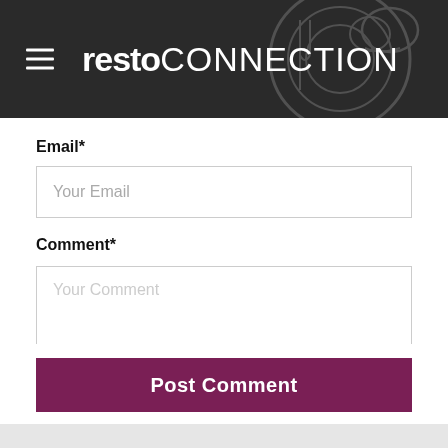[Figure (screenshot): Website header with dark background, hamburger menu icon on the left, and 'restoCONNECTION' logo text in white. Decorative chef-related circular watermark graphics in background.]
Email*
Your Email
Comment*
Your Comment
Post Comment